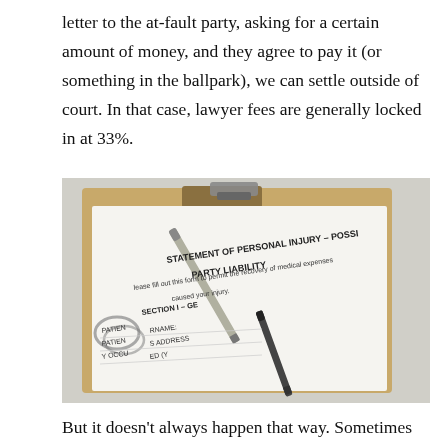letter to the at-fault party, asking for a certain amount of money, and they agree to pay it (or something in the ballpark), we can settle outside of court. In that case, lawyer fees are generally locked in at 33%.
[Figure (photo): A clipboard with a legal document titled 'Statement of Personal Injury - Possible Party Liability', with pens and glasses resting on top of the form.]
But it doesn't always happen that way. Sometimes